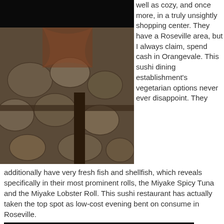[Figure (photo): Interior photo of a restaurant floor with stone/pebble tile pattern, partially lit, dark ceiling visible above]
well as cozy, and once more, in a truly unsightly shopping center. They have a Roseville area, but I always claim, spend cash in Orangevale. This sushi dining establishment's vegetarian options never ever disappoint. They additionally have very fresh fish and shellfish, which reveals specifically in their most prominent rolls, the Miyake Spicy Tuna and the Miyake Lobster Roll. This sushi restaurant has actually taken the top spot as low-cost evening bent on consume in Roseville.
[Figure (photo): Photo of a person at a restaurant table, appears to be a young person holding chopsticks, with decorative wall art visible in background]